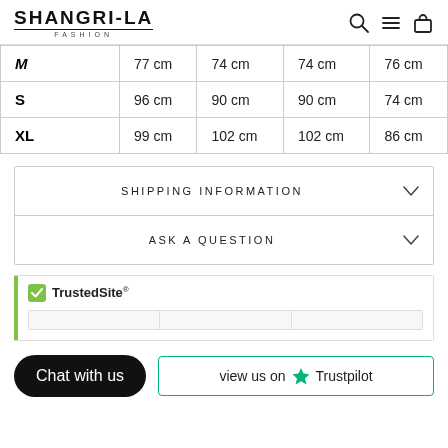SHANGRI-LA FASHION
|  |  |  |  |  |
| --- | --- | --- | --- | --- |
| M | 77 cm | 74 cm | 74 cm | 76 cm |
| S | 96 cm | 90 cm | 90 cm | 74 cm |
| XL | 99 cm | 102 cm | 102 cm | 86 cm |
SHIPPING INFORMATION
ASK A QUESTION
[Figure (logo): TrustedSite badge with green checkmark and progress bars]
Chat with us
Review us on Trustpilot